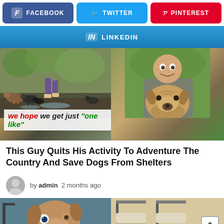[Figure (infographic): Social media share buttons: Facebook (blue/purple), Twitter (blue), Pinterest (red)]
[Figure (infographic): LinkedIn share button (blue gradient)]
[Figure (photo): Two photos side by side: left shows multiple dogs running, right shows person hugging a large dog. Overlay text reads: we hope we get just "one like"]
This Guy Quits His Activity To Adventure The Country And Save Dogs From Shelters
by admin  2 months ago
[Figure (photo): Two bottom photos: left shows a brown dog looking up at camera, right shows chairs in background with scroll-to-top button]